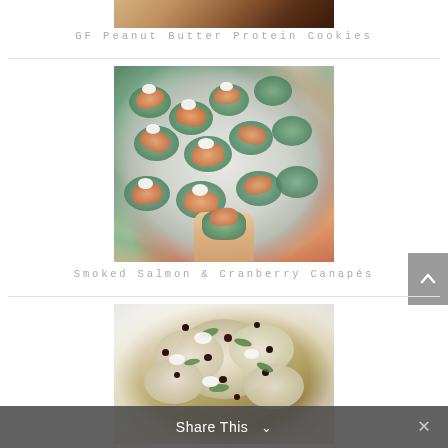[Figure (photo): Partial view of GF Peanut Butter Protein Cookies from above]
GF Peanut Butter Protein Cookies
[Figure (photo): Overhead view of Smoked Salmon & Cranberry Canapés on cucumber slices on a plate, topped with cream cheese and herbs]
Smoked Salmon & Cranberry Canapés
[Figure (photo): Overhead view of a cauliflower dish with cranberries, herbs, and cream on a white plate]
Share This